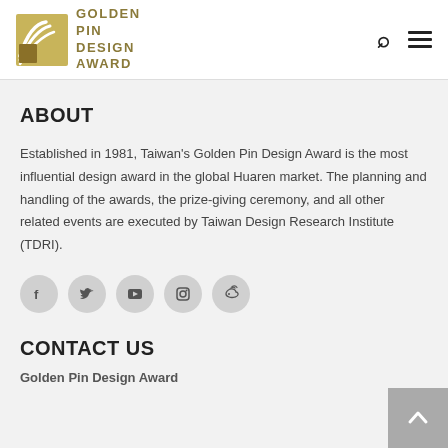Golden Pin Design Award
ABOUT
Established in 1981, Taiwan's Golden Pin Design Award is the most influential design award in the global Huaren market. The planning and handling of the awards, the prize-giving ceremony, and all other related events are executed by Taiwan Design Research Institute (TDRI).
[Figure (infographic): Row of five circular social media icon buttons: Facebook, Twitter, YouTube, Instagram, Weibo]
CONTACT US
Golden Pin Design Award